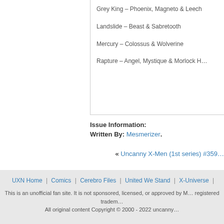Grey King – Phoenix, Magneto & Leech
Landslide – Beast & Sabretooth
Mercury – Colossus & Wolverine
Rapture – Angel, Mystique & Morlock H…
Issue Information:
Written By: Mesmerizer.
« Uncanny X-Men (1st series) #359…
UXN Home | Comics | Cerebro Files | United We Stand | X-Universe | …
This is an unofficial fan site. It is not sponsored, licensed, or approved by M… registered tradem…
All original content Copyright © 2000 - 2022 uncanny…